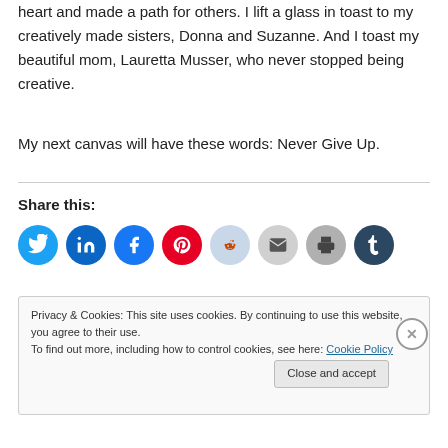heart and made a path for others. I lift a glass in toast to my creatively made sisters, Donna and Suzanne. And I toast my beautiful mom, Lauretta Musser, who never stopped being creative.
My next canvas will have these words: Never Give Up.
Share this:
[Figure (infographic): Social share buttons: Twitter (blue), LinkedIn (dark blue), Facebook (blue), Pinterest (red), Reddit (light blue), Email (gray), Print (gray), Tumblr (dark navy)]
Privacy & Cookies: This site uses cookies. By continuing to use this website, you agree to their use. To find out more, including how to control cookies, see here: Cookie Policy